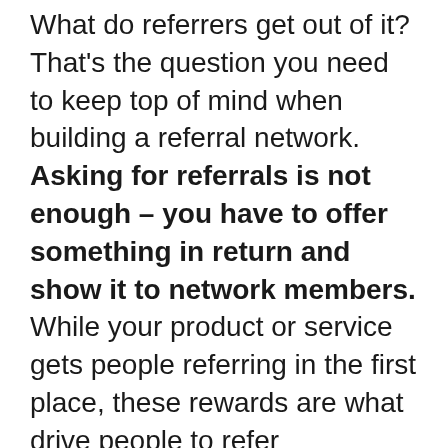What do referrers get out of it? That's the question you need to keep top of mind when building a referral network. Asking for referrals is not enough – you have to offer something in return and show it to network members. While your product or service gets people referring in the first place, these rewards are what drive people to refer repeatedly.
It's helpful to think about the different kinds of rewards that might appeal to your audience and how you will use them for motivation. What might be the most enticing reward for your referrers – cash back? Store credits? Gift cards? Experiential rewards, such as sports tickets?